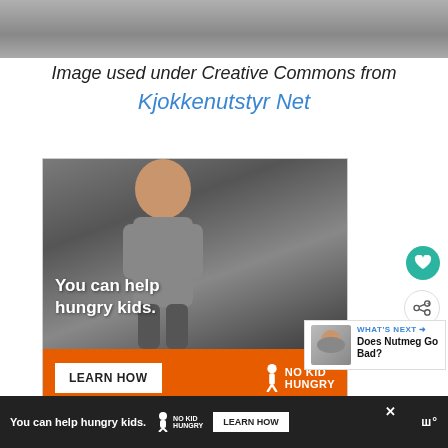[Figure (photo): Top strip showing a blurred surface/background photo]
Image used under Creative Commons from Kjokkenutstyr Net
[Figure (screenshot): Advertisement banner: child eating with text 'You can help hungry kids.' and orange bar with LEARN HOW button and No Kid Hungry logo]
[Figure (screenshot): What's Next box showing 'Does Nutmeg Go Bad?' with thumbnail]
[Figure (screenshot): Bottom dark bar advertisement: 'You can help hungry kids.' No Kid Hungry logo and LEARN HOW button]